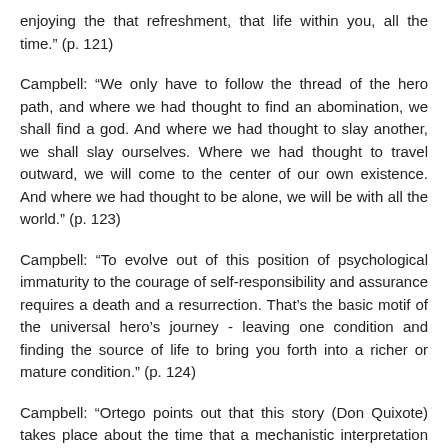enjoying the that refreshment, that life within you, all the time.” (p. 121)
Campbell: “We only have to follow the thread of the hero path, and where we had thought to find an abomination, we shall find a god. And where we had thought to slay another, we shall slay ourselves. Where we had thought to travel outward, we will come to the center of our own existence. And where we had thought to be alone, we will be with all the world.” (p. 123)
Campbell: “To evolve out of this position of psychological immaturity to the courage of self-responsibility and assurance requires a death and a resurrection. That’s the basic motif of the universal hero’s journey - leaving one condition and finding the source of life to bring you forth into a richer or mature condition.” (p. 124)
Campbell: “Ortego points out that this story (Don Quixote) takes place about the time that a mechanistic interpretation of the world came in, so that the environment was no spiritually responsive to the hero. The hero today is today running up against a hard world that is in no way responsive to his spiritual need.” (p. 130)
Moyers: “A windmill.”